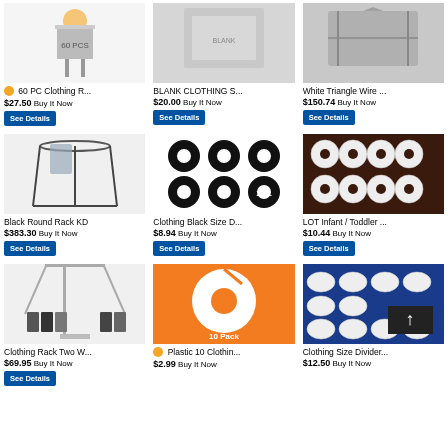[Figure (photo): Product listing: 60 PC Clothing R... $27.50 Buy It Now]
[Figure (photo): Product listing: BLANK CLOTHING S... $20.00 Buy It Now]
[Figure (photo): Product listing: White Triangle Wire... $150.74 Buy It Now]
[Figure (photo): Product listing: Black Round Rack KD $383.30 Buy It Now]
[Figure (photo): Product listing: Clothing Black Size D... $8.94 Buy It Now]
[Figure (photo): Product listing: LOT Infant / Toddler... $10.44 Buy It Now]
[Figure (photo): Product listing: Clothing Rack Two W... $69.95 Buy It Now]
[Figure (photo): Product listing: Plastic 10 Clothin... $2.99 Buy It Now]
[Figure (photo): Product listing: Clothing Size Divider... $12.50 Buy It Now]